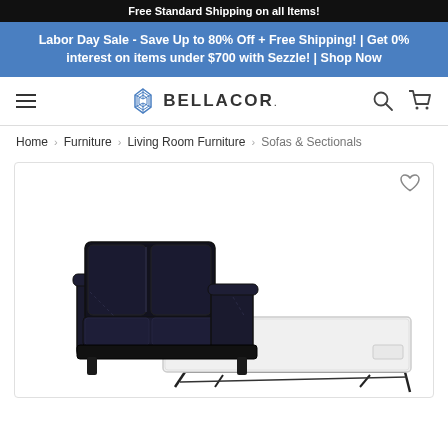Free Standard Shipping on all Items!
Labor Day Sale - Save Up to 80% Off + Free Shipping! | Get 0% interest on items under $700 with Sezzle! | Shop Now
[Figure (logo): Bellacor logo with diamond geometric icon and text BELLACOR.]
Home > Furniture > Living Room Furniture > Sofas & Sectionals
[Figure (photo): Black leather sleeper sofa with pull-out bed extended, showing white mattress on metal frame, photographed on white background.]